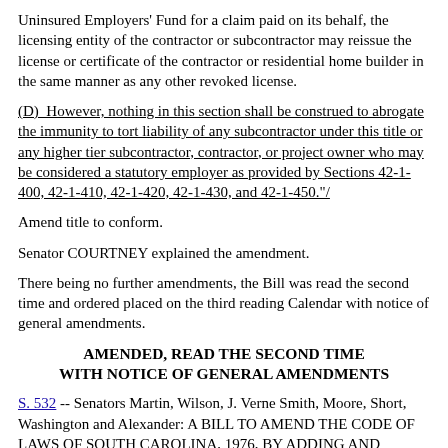Uninsured Employers' Fund for a claim paid on its behalf, the licensing entity of the contractor or subcontractor may reissue the license or certificate of the contractor or residential home builder in the same manner as any other revoked license.
(D)  However, nothing in this section shall be construed to abrogate the immunity to tort liability of any subcontractor under this title or any higher tier subcontractor, contractor, or project owner who may be considered a statutory employer as provided by Sections 42-1-400, 42-1-410, 42-1-420, 42-1-430, and 42-1-450."/
Amend title to conform.
Senator COURTNEY explained the amendment.
There being no further amendments, the Bill was read the second time and ordered placed on the third reading Calendar with notice of general amendments.
AMENDED, READ THE SECOND TIME WITH NOTICE OF GENERAL AMENDMENTS
S. 532 -- Senators Martin, Wilson, J. Verne Smith, Moore, Short, Washington and Alexander: A BILL TO AMEND THE CODE OF LAWS OF SOUTH CAROLINA, 1976, BY ADDING AND AMENDING VARIOUS SECTIONS ALL RESPECTIVELY